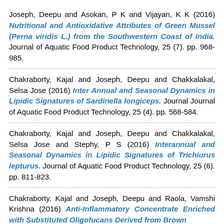Joseph, Deepu and Asokan, P K and Vijayan, K K (2016) Nutritional and Antioxidative Attributes of Green Mussel (Perna viridis L.) from the Southwestern Coast of India. Journal of Aquatic Food Product Technology, 25 (7). pp. 968-985.
Chakraborty, Kajal and Joseph, Deepu and Chakkalakal, Selsa Jose (2016) Inter Annual and Seasonal Dynamics in Lipidic Signatures of Sardinella longiceps. Journal Journal of Aquatic Food Product Technology, 25 (4). pp. 568-584.
Chakraborty, Kajal and Joseph, Deepu and Chakkalakal, Selsa Jose and Stephy, P S (2016) Interannual and Seasonal Dynamics in Lipidic Signatures of Trichiurus lepturus. Journal of Aquatic Food Product Technology, 25 (6). pp. 811-823.
Chakraborty, Kajal and Joseph, Deepu and Raola, Vamshi Krishna (2016) Anti-Inflammatory Concentrate Enriched with Substituted Oligofucans Derived from Brown